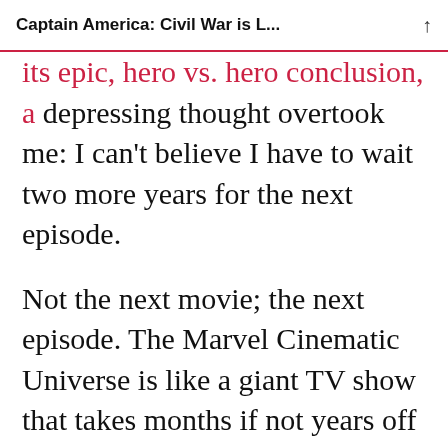Captain America: Civil War is L...
its epic, hero vs. hero conclusion, a depressing thought overtook me: I can't believe I have to wait two more years for the next episode.
Not the next movie; the next episode. The Marvel Cinematic Universe is like a giant TV show that takes months if not years off in-between episodes. Whereas Age of Ultron was more of a filler episode setting up